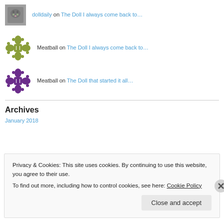[Figure (photo): Cat photo avatar thumbnail]
dolldaily on The Doll I always come back to…
[Figure (illustration): Green ornamental cross/flower pattern avatar]
Meatball on The Doll I always come back to…
[Figure (illustration): Purple ornamental cross/flower pattern avatar]
Meatball on The Doll that started it all…
[Figure (illustration): Purple ornamental cross/flower pattern avatar]
Archives
Privacy & Cookies: This site uses cookies. By continuing to use this website, you agree to their use.
To find out more, including how to control cookies, see here: Cookie Policy